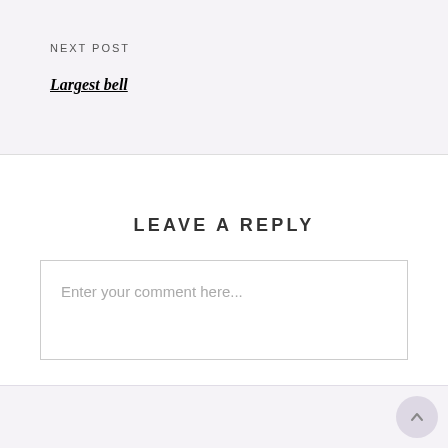NEXT POST
Largest bell
LEAVE A REPLY
Enter your comment here...